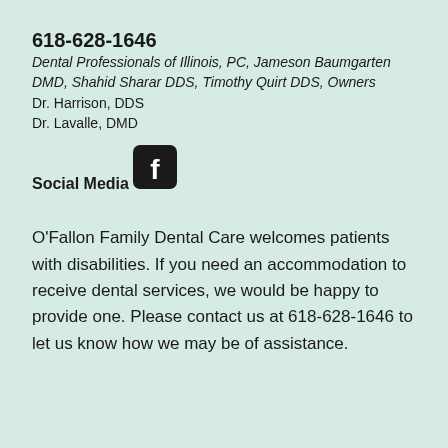618-628-1646
Dental Professionals of Illinois, PC, Jameson Baumgarten DMD, Shahid Sharar DDS, Timothy Quirt DDS, Owners
Dr. Harrison, DDS
Dr. Lavalle, DMD
Social Media
[Figure (logo): Facebook logo icon — rounded square with white 'f' on dark background]
O'Fallon Family Dental Care welcomes patients with disabilities. If you need an accommodation to receive dental services, we would be happy to provide one. Please contact us at 618-628-1646 to let us know how we may be of assistance.